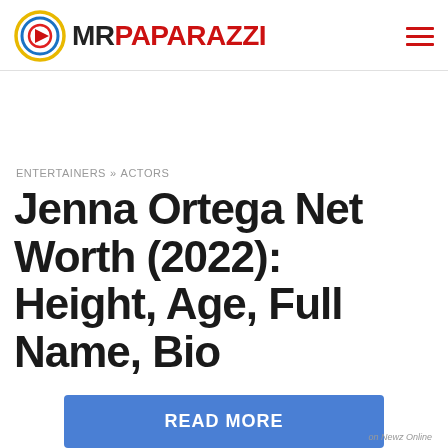MR PAPARAZZI
ENTERTAINERS » ACTORS
Jenna Ortega Net Worth (2022): Height, Age, Full Name, Bio
READ MORE
on Newz Online